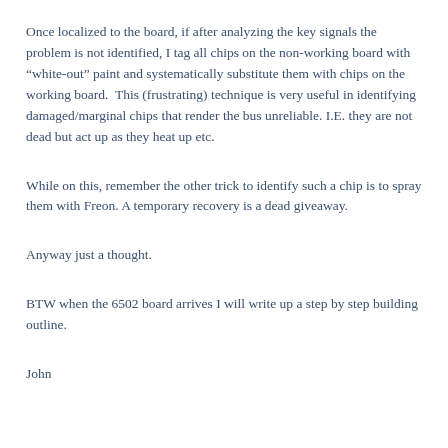Once localized to the board, if after analyzing the key signals the problem is not identified, I tag all chips on the non-working board with “white-out” paint and systematically substitute them with chips on the working board.  This (frustrating) technique is very useful in identifying damaged/marginal chips that render the bus unreliable. I.E. they are not dead but act up as they heat up etc.
While on this, remember the other trick to identify such a chip is to spray them with Freon. A temporary recovery is a dead giveaway.
Anyway just a thought.
BTW when the 6502 board arrives I will write up a step by step building outline.
John